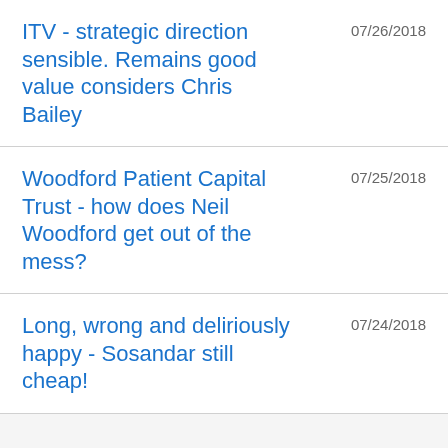ITV - strategic direction sensible. Remains good value considers Chris Bailey
07/26/2018
Woodford Patient Capital Trust - how does Neil Woodford get out of the mess?
07/25/2018
Long, wrong and deliriously happy - Sosandar still cheap!
07/24/2018